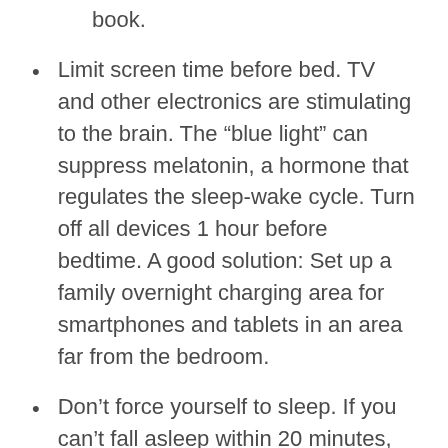book.
Limit screen time before bed. TV and other electronics are stimulating to the brain. The “blue light” can suppress melatonin, a hormone that regulates the sleep-wake cycle. Turn off all devices 1 hour before bedtime. A good solution: Set up a family overnight charging area for smartphones and tablets in an area far from the bedroom.
Don’t force yourself to sleep. If you can’t fall asleep within 20 minutes, get out of bed and do something calming, then return to your bed when you feel tired. Some ideas are reading a book, writing